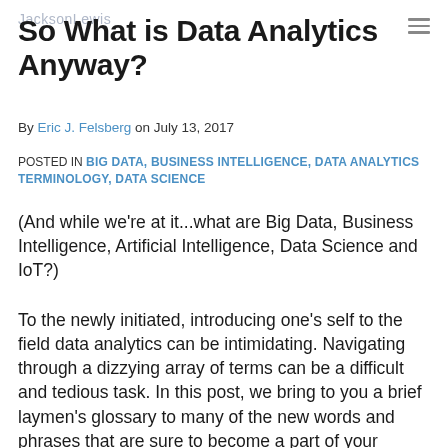JacksonLewis
So What is Data Analytics Anyway?
By Eric J. Felsberg on July 13, 2017
POSTED IN BIG DATA, BUSINESS INTELLIGENCE, DATA ANALYTICS TERMINOLOGY, DATA SCIENCE
(And while we're at it...what are Big Data, Business Intelligence, Artificial Intelligence, Data Science and IoT?)
To the newly initiated, introducing one's self to the field data analytics can be intimidating. Navigating through a dizzying array of terms can be a difficult and tedious task. In this post, we bring to you a brief laymen's glossary to many of the new words and phrases that are sure to become a part of your